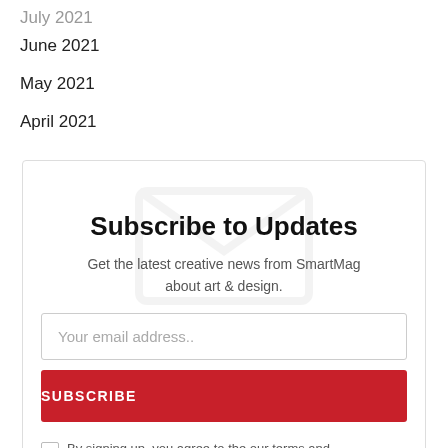July 2021
June 2021
May 2021
April 2021
Subscribe to Updates
Get the latest creative news from SmartMag about art & design.
Your email address..
SUBSCRIBE
By signing up, you agree to the our terms and